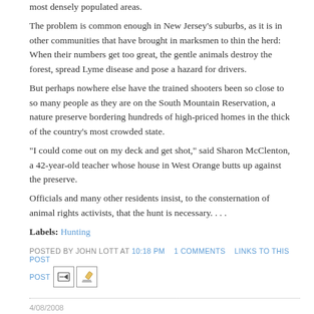most densely populated areas.
The problem is common enough in New Jersey’s suburbs, as it is in other communities that have brought in marksmen to thin the herd: When their numbers get too great, the gentle animals destroy the forest, spread Lyme disease and pose a hazard for drivers.
But perhaps nowhere else have the trained shooters been so close to so many people as they are on the South Mountain Reservation, a nature preserve bordering hundreds of high-priced homes in the thick of the country’s most crowded state.
"I could come out on my deck and get shot," said Sharon McClenton, a 42-year-old teacher whose house in West Orange butts up against the preserve.
Officials and many other residents insist, to the consternation of animal rights activists, that the hunt is necessary. . . .
Labels: Hunting
POSTED BY JOHN LOTT AT 10:18 PM   1 COMMENTS   LINKS TO THIS POST